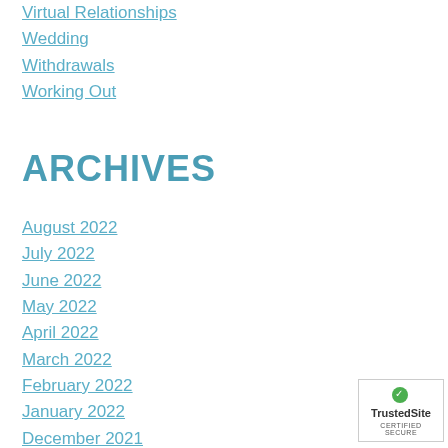Virtual Relationships
Wedding
Withdrawals
Working Out
ARCHIVES
August 2022
July 2022
June 2022
May 2022
April 2022
March 2022
February 2022
January 2022
December 2021
November 2021
October 2021
September 2021
August 2021